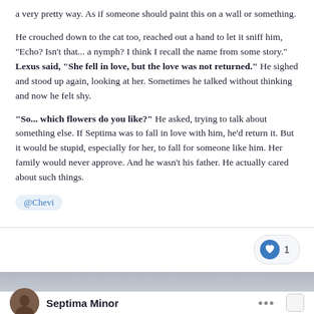a very pretty way. As if someone should paint this on a wall or something.
He crouched down to the cat too, reached out a hand to let it sniff him, "Echo? Isn't that... a nymph? I think I recall the name from some story." Lexus said, "She fell in love, but the love was not returned." He sighed and stood up again, looking at her. Sometimes he talked without thinking and now he felt shy.
"So... which flowers do you like?" He asked, trying to talk about something else. If Septima was to fall in love with him, he'd return it. But it would be stupid, especially for her, to fall for someone like him. Her family would never approve. And he wasn't his father. He actually cared about such things.
@Chevi
1
Septima Minor